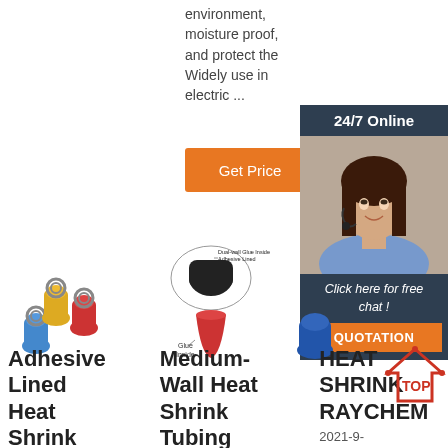environment, moisture proof, and protect the Widely use in electric ...
Get Price
[Figure (infographic): 24/7 Online customer service panel with photo of woman with headset, 'Click here for free chat!' text and QUOTATION orange button]
[Figure (photo): Three colored ring terminal connectors (blue, yellow, red)]
[Figure (engineering-diagram): Dual-wall Glue Inside Adhesive Lined heat shrink tubing cross-section showing black cap and red flared end, labeled 'Glue Inside']
Adhesive Lined Heat Shrink
Medium-Wall Heat Shrink Tubing
HEAT SHRINK RAYCHEM
2021-9-